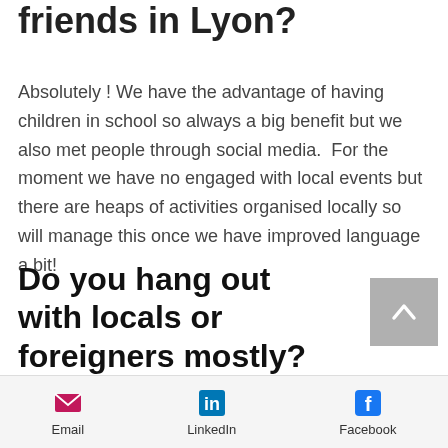friends in Lyon?
Absolutely ! We have the advantage of having children in school so always a big benefit but we also met people through social media.  For the moment we have no engaged with local events but there are heaps of activities organised locally so will manage this once we have improved language a bit!
Do you hang out with locals or foreigners mostly?
Mostly foreigners so far – again
Email  LinkedIn  Facebook